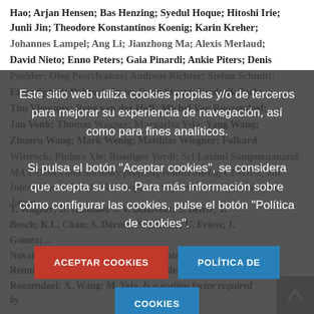Hao; Arjan Hensen; Bas Henzing; Syedul Hoque; Hitoshi Irie; Junli Jin; Theodore Konstantinos Koenig; Karin Kreher; Johannes Lampel; Ang Li; Jianzhong Ma; Alexis Merlaud; David Nieto; Enno Peters; Gaia Pinardi; Ankie Piters; Denis Poeher; Oleg Postylyakov; Andreas Richter; Stefan Schmitt; Elena Spinei; Deborah Stein; Daan Stuart; Frederik Tack; Tim Vlemmix; René van der Hoff; Michel Van Roozendael; Jan Vonk; Thomas Wagner; Margarita Yela; Yang Wang; Zhuoru Wang; Mark Wenig; Matthias Wiegner; Folkard Wittrock; Pinhua Xie; Ruediger Yordi; Sri Laximi Sampurnanand. MAX-DOAS and ancillary profiling results during CINDI-2, 8th International DOAS Workshop, 4-6 September 2017, Yokohama, Japan.
T. Wagner; D. González; V. Benavent; S. Beirle; T. Bosch; K.L. Chan; S. Dörner; S. Donner; U. Friess; J. Gomez; ... M. Navarro; D.G. Nieto; E. ...; H. Sihler; M. van Roozendael; X. Wang; M. Yela. Is a scaling factor required by...
[Figure (screenshot): Cookie consent overlay in Spanish over a scientific document page. Overlay reads: 'Este sitio web utiliza cookies propias y/o de terceros para mejorar su experiencia de navegación, así como para fines analíticos. Si pulsa el botón "Aceptar cookies", se considera que acepta su uso. Para más información sobre cómo configurar las cookies, pulse el botón "Política de cookies".' with two buttons: red 'ACEPTAR COOKIES' and blue 'POLÍTICA DE COOKIES'.]